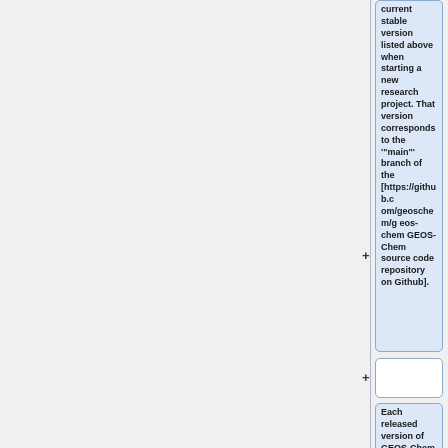current stable version listed above when starting a new research project. That version corresponds to the '"main"' branch of the [https://github.com/geoschem/geos-chem GEOS-Chem source code repository on Github].
Each released version of GEOS-Chem